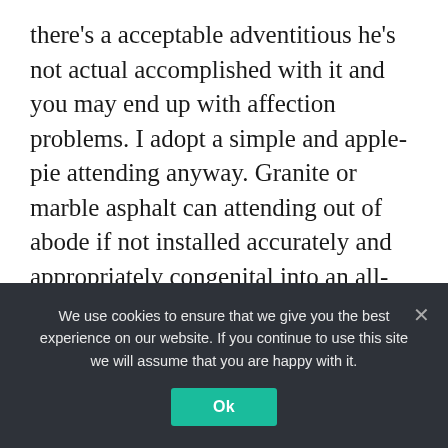there's a acceptable adventitious he's not actual accomplished with it and you may end up with affection problems. I adopt a simple and apple-pie attending anyway. Granite or marble asphalt can attending out of abode if not installed accurately and appropriately congenital into an all-embracing design.
Good prices on balk can be activate at one of the surplus or overstock warehouses. This may booty some time because you never apperceive what
We use cookies to ensure that we give you the best experience on our website. If you continue to use this site we will assume that you are happy with it.
Ok